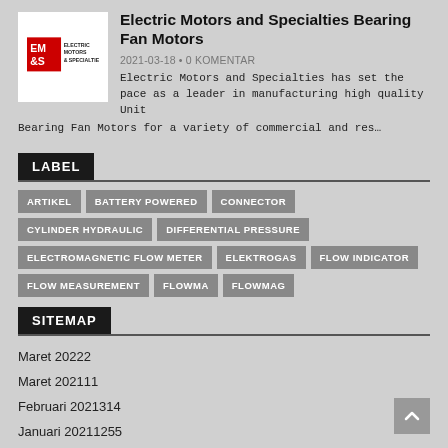[Figure (logo): Electric Motors and Specialties logo — EM&S red square logo with text]
Electric Motors and Specialties Bearing Fan Motors
2021-03-18 • 0 KOMENTAR
Electric Motors and Specialties has set the pace as a leader in manufacturing high quality Unit Bearing Fan Motors for a variety of commercial and res...
LABEL
ARTIKEL
BATTERY POWERED
CONNECTOR
CYLINDER HYDRAULIC
DIFFERENTIAL PRESSURE
ELECTROMAGNETIC FLOW METER
ELEKTROGAS
FLOW INDICATOR
FLOW MEASUREMENT
FLOWMA
FLOWMAG
SITEMAP
Maret 20222
Maret 202111
Februari 2021314
Januari 20211255